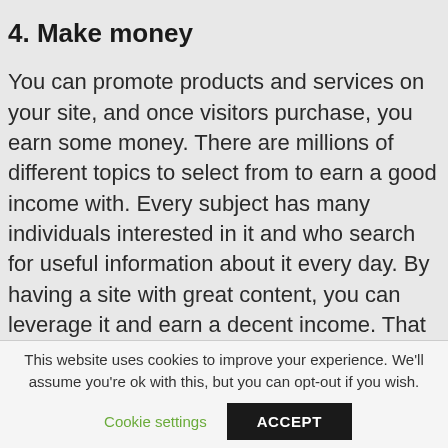4. Make money
You can promote products and services on your site, and once visitors purchase, you earn some money. There are millions of different topics to select from to earn a good income with. Every subject has many individuals interested in it and who search for useful information about it every day. By having a site with great content, you can leverage it and earn a decent income. That is what Wealthy Affiliate teaches you to do, even if you don't have previous experience with these things.
This website uses cookies to improve your experience. We'll assume you're ok with this, but you can opt-out if you wish.
Cookie settings    ACCEPT